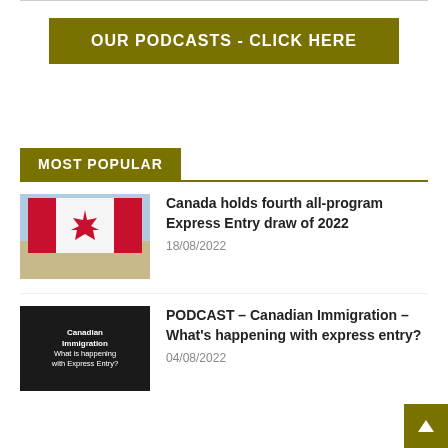OUR PODCASTS - CLICK HERE
MOST POPULAR
Canada holds fourth all-program Express Entry draw of 2022
18/08/2022
PODCAST – Canadian Immigration – What's happening with express entry?
04/08/2022